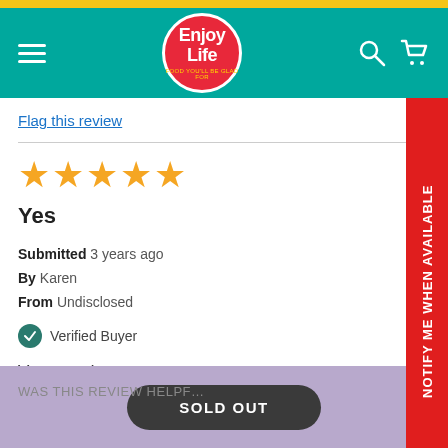[Figure (screenshot): Enjoy Life brand logo — red circle with white text 'Enjoy Life' and yellow tagline, on teal navigation bar with hamburger menu, search and cart icons]
Flag this review
★★★★★
Yes
Submitted 3 years ago
By Karen
From Undisclosed
✓ Verified Buyer
Very good...
WAS THIS REVIEW HELPF…
SOLD OUT
NOTIFY ME WHEN AVAILABLE